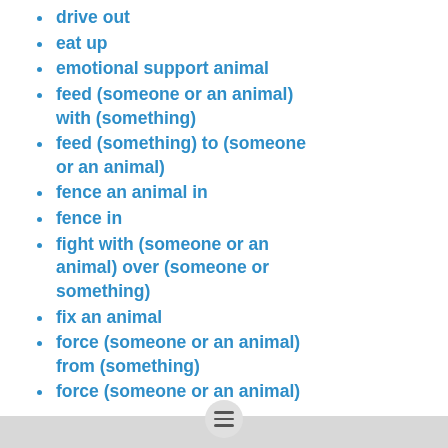drive out
eat up
emotional support animal
feed (someone or an animal) with (something)
feed (something) to (someone or an animal)
fence an animal in
fence in
fight with (someone or an animal) over (someone or something)
fix an animal
force (someone or an animal) from (something)
force (someone or an animal)